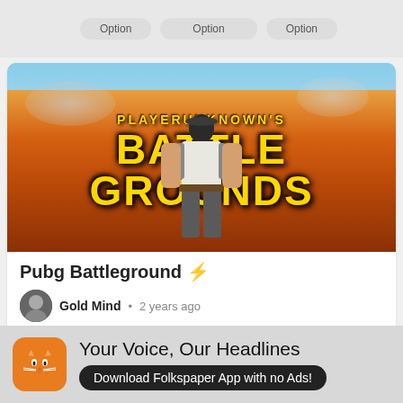[Figure (screenshot): Top navigation bar with rounded tab buttons on grey background]
[Figure (photo): PLAYERUNKNOWN'S BATTLEGROUNDS game cover art showing armed soldier against fiery explosion background with golden game title text]
Pubg Battleground 🔫
Gold Mind · 2 years ago
Best Game in the world 🎮 Follow for more amazing pictures ⚡
...more
[Figure (infographic): Folkspaper app advertisement banner with orange cat icon, 'Your Voice, Our Headlines' headline, and 'Download Folkspaper App with no Ads!' button]